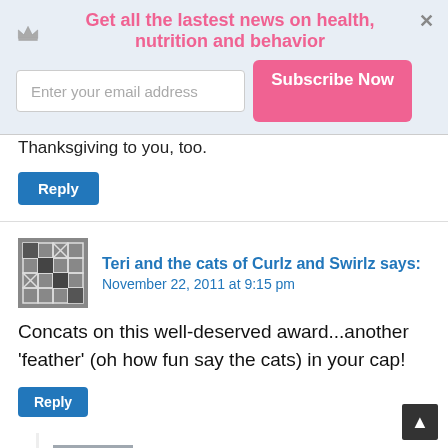[Figure (infographic): Email subscription banner with crown icon, pink title 'Get all the lastest news on health, nutrition and behavior', email input field, and pink Subscribe Now button, with X close button]
Thanksgiving to you, too.
Reply
Teri and the cats of Curlz and Swirlz says: November 22, 2011 at 9:15 pm
Concats on this well-deserved award...another 'feather' (oh how fun say the cats) in your cap!
Reply
Ingrid says: November 23, 2011 at 7:17 am